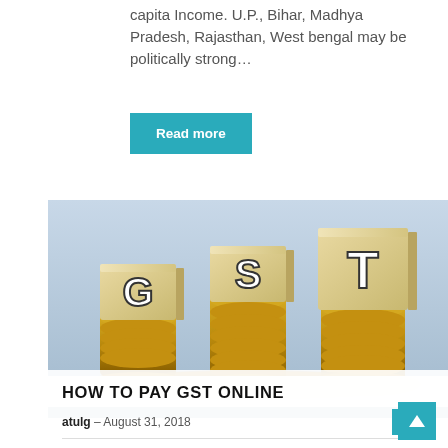capita Income. U.P., Bihar, Madhya Pradesh, Rajasthan, West bengal may be politically strong...
Read more
[Figure (photo): Photo of wooden blocks with letters G, S, T stacked on piles of gold coins against a light blue background, illustrating GST (Goods and Services Tax)]
HOW TO PAY GST ONLINE
atulg – August 31, 2018
0
In this article, we will go through the GST Payment